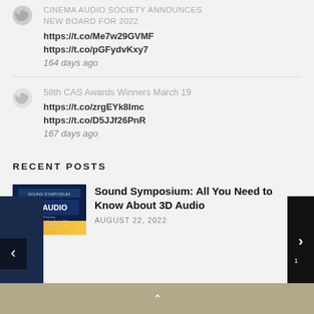CINEMA AUDIO SOCIETY ANNOUNCES NEW BOARD FOR 2022
https://t.co/Me7w29GVMF
https://t.co/pGFydvKxy7
164 days ago
58th CAS Awards Winners March 19
https://t.co/zrgEYk8Imc
https://t.co/D5JJf26PnR
167 days ago
RECENT POSTS
[Figure (photo): Thumbnail image for Sound Symposium article showing '3D AUDIO' text on dark blue/orange gradient background]
Sound Symposium: All You Need to Know About 3D Audio
AUGUST 22, 2022